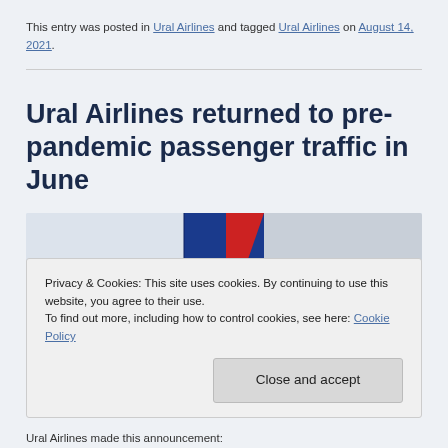This entry was posted in Ural Airlines and tagged Ural Airlines on August 14, 2021.
Ural Airlines returned to pre-pandemic passenger traffic in June
[Figure (photo): Partial view of a Ural Airlines aircraft tail with blue and red livery markings]
Privacy & Cookies: This site uses cookies. By continuing to use this website, you agree to their use.
To find out more, including how to control cookies, see here: Cookie Policy
Ural Airlines made this announcement: